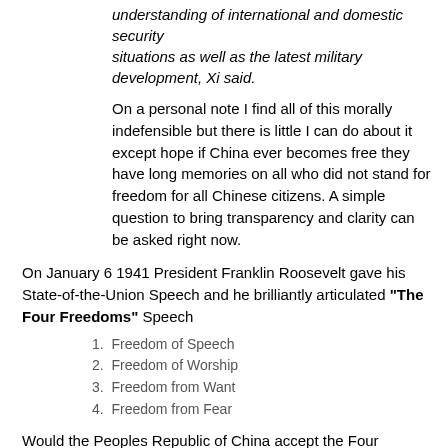understanding of international and domestic security situations as well as the latest military development, Xi said.
On a personal note I find all of this morally indefensible but there is little I can do about it except hope if China ever becomes free they have long memories on all who did not stand for freedom for all Chinese citizens. A simple question to bring transparency and clarity can be asked right now.
On January 6 1941 President Franklin Roosevelt gave his State-of-the-Union Speech and he brilliantly articulated “The Four Freedoms” Speech
Freedom of Speech
Freedom of Worship
Freedom from Want
Freedom from Fear
Would the Peoples Republic of China accept the Four Freedoms?
Let a global IW battle begin in support of the Four Freedoms and let a public record be established.
http://www.sldinfo.com/conducting-an-information-war-against-islamic-extremists/
Professors at The University of Chicago certainly understand the challenge: